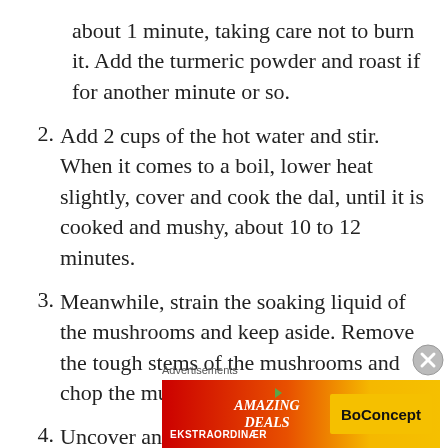about 1 minute, taking care not to burn it. Add the turmeric powder and roast if for another minute or so.
2. Add 2 cups of the hot water and stir. When it comes to a boil, lower heat slightly, cover and cook the dal, until it is cooked and mushy, about 10 to 12 minutes.
3. Meanwhile, strain the soaking liquid of the mushrooms and keep aside. Remove the tough stems of the mushrooms and chop the mushrooms in bite size pieces.
4. Uncover and whisk the dal with a wire
Advertisements
[Figure (other): Advertisement banner: gradient red-to-yellow background with 'EKSTRAORDINÆR' on the left, 'AMAZING DEALS' in center italic, and 'BoConcept' logo on the right.]